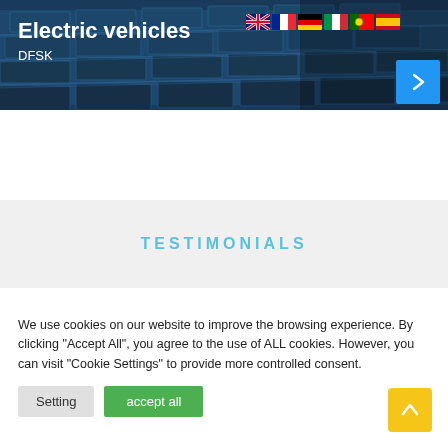[Figure (photo): Hero banner showing solar panels with 'Electric vehicles / DFSK' text overlay, language flag icons, and a blue arrow button]
TESTIMONIALS
We use cookies on our website to improve the browsing experience. By clicking "Accept All", you agree to the use of ALL cookies. However, you can visit "Cookie Settings" to provide more controlled consent.
Setting
accept all